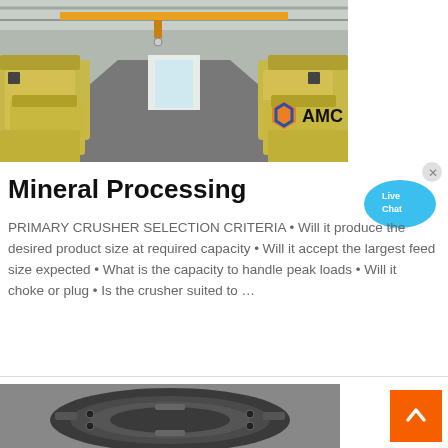[Figure (photo): Industrial warehouse/factory floor with rows of yellow heavy machinery (impact crushers) on both sides, viewed from center perspective. AMC company logo overlaid bottom-right.]
Mineral Processing
[Figure (other): Live Chat bubble button - blue speech bubble with text 'Live Chat' and an X close button]
PRIMARY CRUSHER SELECTION CRITERIA • Will it produce the desired product size at required capacity • Will it accept the largest feed size expected • What is the capacity to handle peak loads • Will it choke or plug • Is the crusher suited to …
[Figure (photo): Close-up photo of a large industrial crusher machine, dark metallic, viewed from front/top angle.]
[Figure (other): Orange back-to-top button with white chevron/arrow pointing upward]